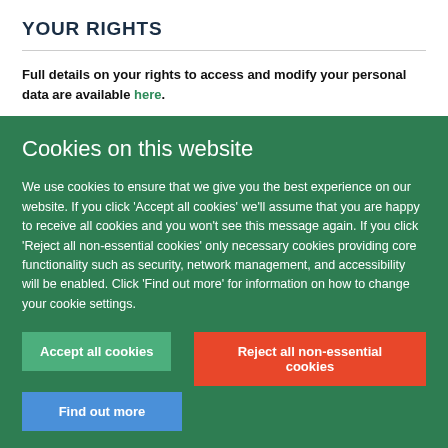YOUR RIGHTS
Full details on your rights to access and modify your personal data are available here.
Cookies on this website
We use cookies to ensure that we give you the best experience on our website. If you click 'Accept all cookies' we'll assume that you are happy to receive all cookies and you won't see this message again. If you click 'Reject all non-essential cookies' only necessary cookies providing core functionality such as security, network management, and accessibility will be enabled. Click 'Find out more' for information on how to change your cookie settings.
Accept all cookies
Reject all non-essential cookies
Find out more